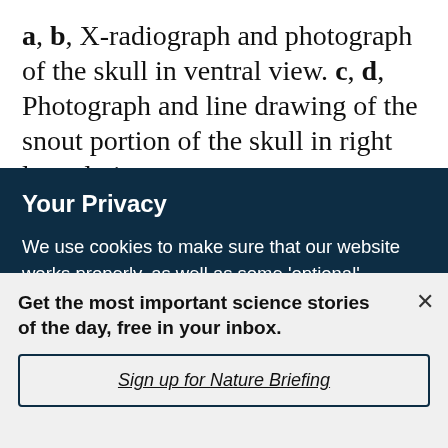a, b, X-radiograph and photograph of the skull in ventral view. c, d, Photograph and line drawing of the snout portion of the skull in right lateral view.
Your Privacy
We use cookies to make sure that our website works properly, as well as some 'optional' cookies to personalise content and advertising, provide social media features and analyse how people use our site. By accepting some or all optional cookies you give consent to the processing of your personal data, including transfer to third parties, some in countries outside of the European Economic Area that do not offer the same data protection standards as the country where you live. You can decide which optional cookies to accept by clicking on 'Manage Settings', where you can
Get the most important science stories of the day, free in your inbox.
Sign up for Nature Briefing